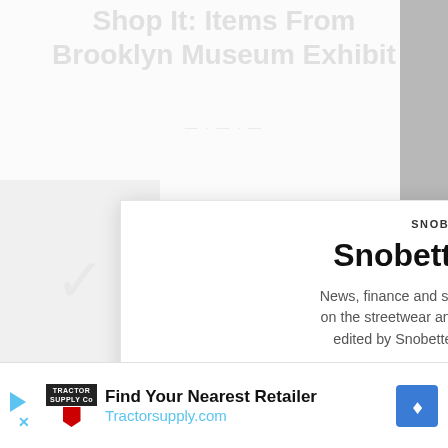Shop It: Items From Brooklyn Museum Exhibit
[Figure (screenshot): Background blurred webpage with navigation and product images]
SNOBETTE
Snobette News
News, finance and social media updates on the streetwear and sneaker space as edited by Snobette EIC Lois Sakany
Type your email…
Subscribe
substack
[Figure (screenshot): Tractor Supply advertisement banner at the bottom of the page]
Find Your Nearest Retailer
Tractorsupply.com